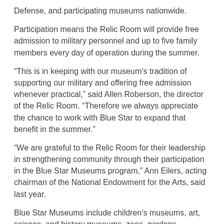Defense, and participating museums nationwide.
Participation means the Relic Room will provide free admission to military personnel and up to five family members every day of operation during the summer.
“This is in keeping with our museum’s tradition of supporting our military and offering free admission whenever practical,” said Allen Roberson, the director of the Relic Room. “Therefore we always appreciate the chance to work with Blue Star to expand that benefit in the summer.”
“We are grateful to the Relic Room for their leadership in strengthening community through their participation in the Blue Star Museums program,” Ann Eilers, acting chairman of the National Endowment for the Arts, said last year.
Blue Star Museums include children’s museums, art, science, and history museums, zoos, gardens, lighthouses, and more, in all 50 states, as well as the District of Columbia, Puerto Rico, and the U.S. Virgin Islands. The current list of participating museums will continue to develop over the summer, as organizations are welcome to register to be a Blue Star Museum throughout the summer.